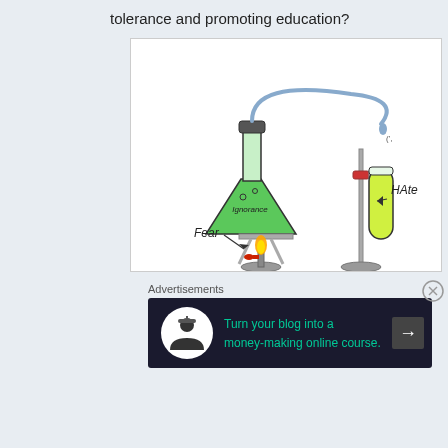tolerance and promoting education?
[Figure (illustration): Chemistry lab illustration showing a flask labeled 'Ignorance' heated by a Bunsen burner labeled 'Fear', with a tube leading to a test tube labeled 'Hate', depicting a metaphor for how fear and ignorance produce hate.]
Advertisements
[Figure (infographic): Advertisement banner: 'Turn your blog into a money-making online course.' with an arrow icon on dark background.]